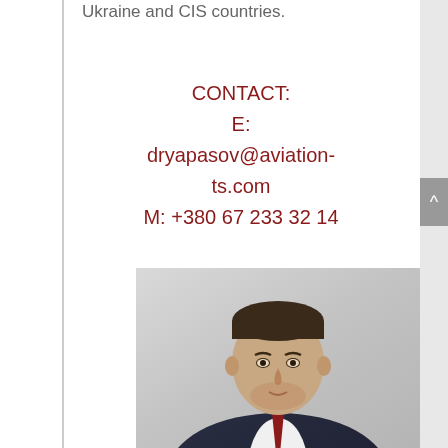Ukraine and CIS countries.
CONTACT:
E: dryapasov@aviation-ts.com
M: +380 67 233 32 14
[Figure (photo): Professional headshot of a man in a dark suit with white shirt and red tie, light grey background, short hair, clean-shaven face with slight stubble]